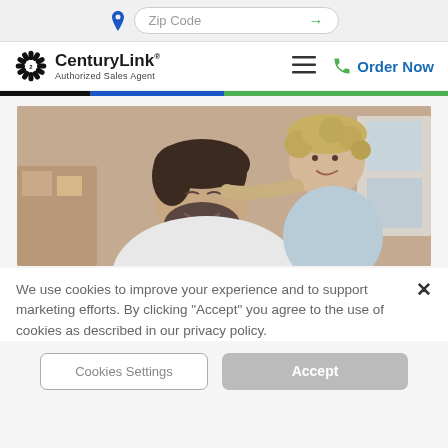Zip Code
[Figure (logo): CenturyLink Authorized Sales Agent logo with spiro sunburst icon]
Order Now
[Figure (photo): A smiling man with a child on his back, both indoors in a warm home setting]
We use cookies to improve your experience and to support marketing efforts. By clicking "Accept" you agree to the use of cookies as described in our privacy policy.
Cookies Settings
Accept